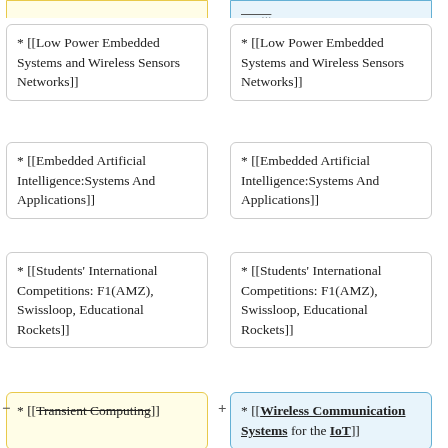* [[Low Power Embedded Systems and Wireless Sensors Networks]]
* [[Low Power Embedded Systems and Wireless Sensors Networks]]
* [[Embedded Artificial Intelligence:Systems And Applications]]
* [[Embedded Artificial Intelligence:Systems And Applications]]
* [[Students' International Competitions: F1(AMZ), Swissloop, Educational Rockets]]
* [[Students' International Competitions: F1(AMZ), Swissloop, Educational Rockets]]
* [[Transient Computing]] (strikethrough, removed)
* [[Wireless Communication Systems for the IoT]] (added)
* [[RF SoCs for the Internet of Things]] (strikethrough, removed)
* [[Energy Efficient Autonomous UAVs]]
* [[Energy Efficient Autonomous UAVs]]